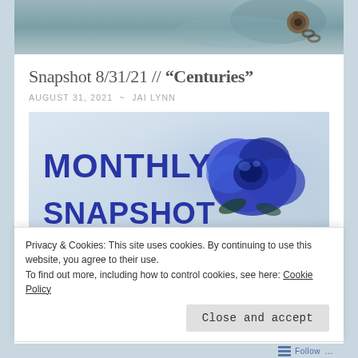[Figure (photo): Top portion of a photo showing a blurry teal/gray background with a rusty metal bolt or ring fixture visible in the upper right area]
Snapshot 8/31/21 // “Centuries”
AUGUST 31, 2021 ~ JAI LYNN
[Figure (photo): Promotional image with light blue/gray background showing a blue rose on the right side and blue handwritten-style text reading 'MONTHLY SNAPSHOT' on the left]
Privacy & Cookies: This site uses cookies. By continuing to use this website, you agree to their use.
To find out more, including how to control cookies, see here: Cookie Policy
Close and accept